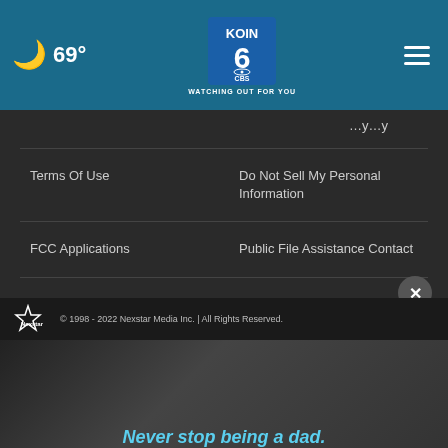69° KOIN 6 CBS WATCHING OUT FOR YOU
Terms Of Use
Do Not Sell My Personal Information
FCC Applications
Public File Assistance Contact
The Hill
NewsNation
BestReviews
Content Licensing
Nexstar Digital
© 1998 - 2022 Nexstar Media Inc. | All Rights Reserved.
[Figure (photo): Advertisement banner showing a man and child with text 'Never stop being a dad.']